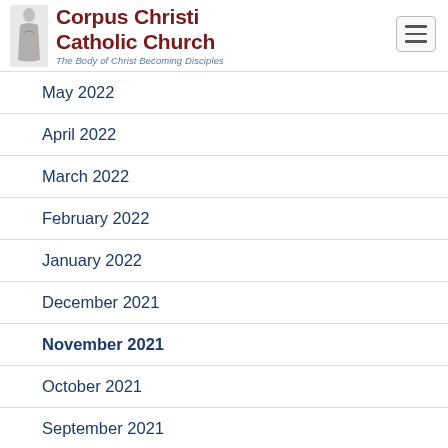Corpus Christi Catholic Church — The Body of Christ Becoming Disciples
May 2022
April 2022
March 2022
February 2022
January 2022
December 2021
November 2021
October 2021
September 2021